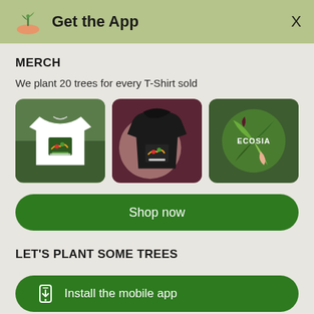Get the App
MERCH
We plant 20 trees for every T-Shirt sold
[Figure (photo): Three Ecosia branded merchandise items: a white t-shirt with colorful Ecosia graphic, a black hoodie with Ecosia graphic, and an Ecosia branded globe logo design, all shown in square thumbnails with rounded corners]
Shop now
LET'S PLANT SOME TREES
Install the mobile app